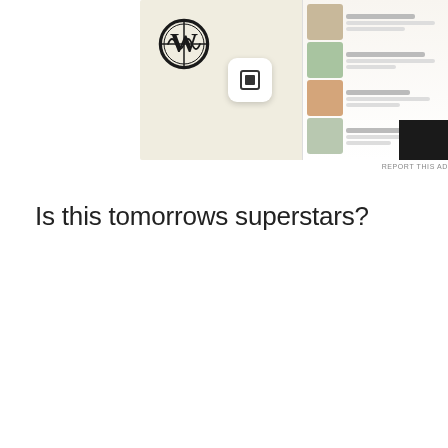[Figure (screenshot): Advertisement banner showing WordPress logo, Squarespace icon, and a food app mockup on a beige/cream background with food menu items displayed on a mobile screen. Bottom right has 'REPORT THIS AD' link.]
Is this tomorrows superstars?